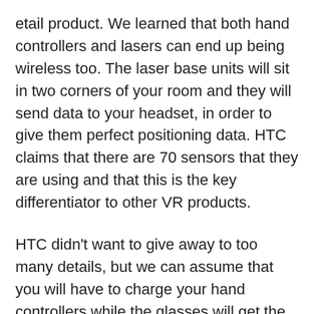etail product. We learned that both hand controllers and lasers can end up being wireless too. The laser base units will sit in two corners of your room and they will send data to your headset, in order to give them perfect positioning data. HTC claims that there are 70 sensors that they are using and that this is the key differentiator to other VR products.
HTC didn't want to give away to too many details, but we can assume that you will have to charge your hand controllers while the glasses will get the power from the PC. We are not sure what happens to the belt present in the first prototype, but we can imagine it will become smaller in the final version.
Developers version should be ready this spring and HTC also plans to be ready to detail